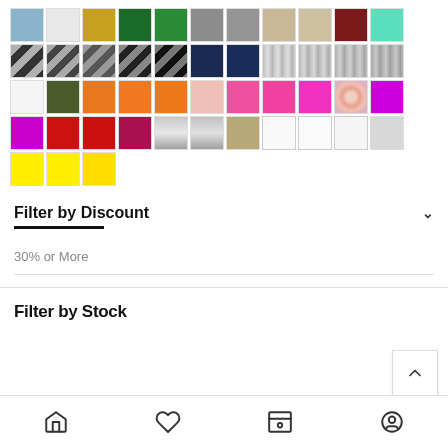[Figure (other): Color swatch grid showing approximately 47 color swatches in 5 rows: Row 1: light blue, white/light gray, mustard yellow, dark green, green, gray, gray, tan/khaki, tan/beige, dark red/maroon, mint green. Row 2: gray/black check, gray/black check, gray/black check, gray/black check, dark check, navy, dark navy, silver/gray stripe, silver/gray stripe, silver/gray stripe, silver/gray stripe. Row 3: white, olive/dark green, orange, orange, orange, light pink/peach, hot pink, hot pink, hot pink/magenta, floral/multi, purple/magenta. Row 4: purple/magenta, red, red, dark pink/crimson, silver gradient, silver gradient, tan/khaki, white, white, white, light gray. Row 5: yellow, yellow, bright yellow.]
Filter by Discount
30% or More
Filter by Stock